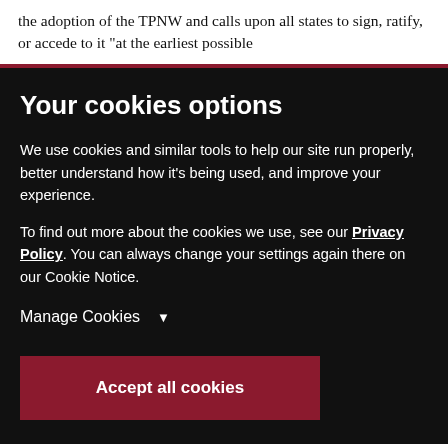the adoption of the TPNW and calls upon all states to sign, ratify, or accede to it “at the earliest possible
Your cookies options
We use cookies and similar tools to help our site run properly, better understand how it’s being used, and improve your experience.
To find out more about the cookies we use, see our Privacy Policy. You can always change your settings again there on our Cookie Notice.
Manage Cookies ▼
Accept all cookies